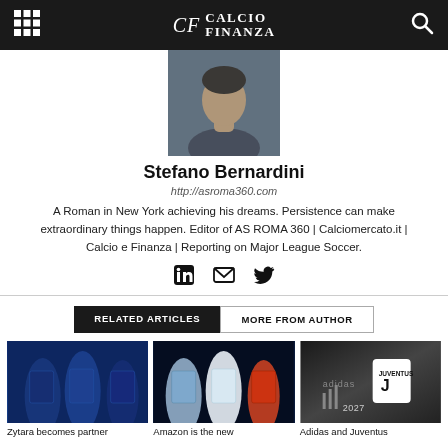CF Calcio Finanza
[Figure (photo): Headshot photo of Stefano Bernardini, a man in a dark jacket smiling, with a dark background]
Stefano Bernardini
http://asroma360.com
A Roman in New York achieving his dreams. Persistence can make extraordinary things happen. Editor of AS ROMA 360 | Calciomercato.it | Calcio e Finanza | Reporting on Major League Soccer.
Social icons: LinkedIn, Email, Twitter
RELATED ARTICLES   MORE FROM AUTHOR
[Figure (photo): Zytara becomes partner - soccer players in dark blue jerseys]
[Figure (photo): Amazon is the new - Napoli players in white and blue jerseys]
[Figure (photo): Adidas and Juventus - Adidas and Juventus logo with 2027 text]
Zytara becomes partner
Amazon is the new
Adidas and Juventus